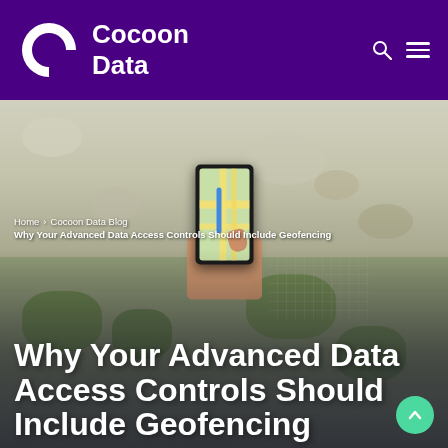Cocoon Data
[Figure (screenshot): Website header with purple background, Cocoon Data logo (white C icon and white text), search icon and hamburger menu icon on the right]
[Figure (photo): Hero background image showing pebbled ground with green plant texture, person's hand holding a smartphone displaying a map navigation app]
Home › Cocoon Data Blog
Why Your Advanced Data Access Controls Should Include Geofencing
Why Your Advanced Data Access Controls Should Include Geofencing